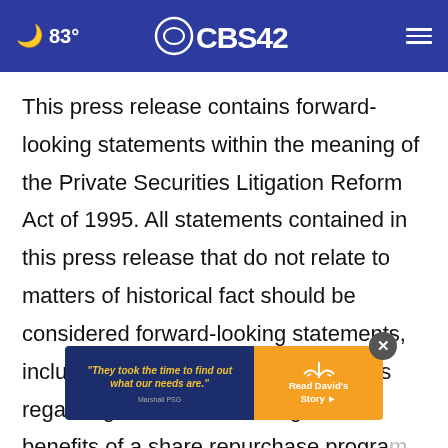☁ 83° | CBS 42 | ☰
This press release contains forward-looking statements within the meaning of the Private Securities Litigation Reform Act of 1995. All statements contained in this press release that do not relate to matters of historical fact should be considered forward-looking statements, including without limitation statements regarding the amount, timing and benefits of a share repurchase program, as well as the … share repurchase program. These statements are
[Figure (screenshot): Advertisement overlay: dark blue panel with quote '"They took the time to find out what our needs are."' and Marshall PSG branding; orange panel with sun graphic and 'Read David's Story ►' CTA. Close button (X) in top-right corner.]